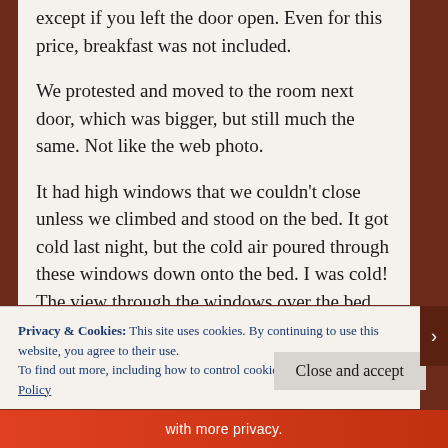except if you left the door open. Even for this price, breakfast was not included.

We protested and moved to the room next door, which was bigger, but still much the same. Not like the web photo.

It had high windows that we couldn't close unless we climbed and stood on the bed. It got cold last night, but the cold air poured through these windows down onto the bed. I was cold! The view through the windows over the bed was of a concrete brick wall. Terrific.
Privacy & Cookies: This site uses cookies. By continuing to use this website, you agree to their use.
To find out more, including how to control cookies, see here: Cookie Policy
Close and accept
with more privacy.